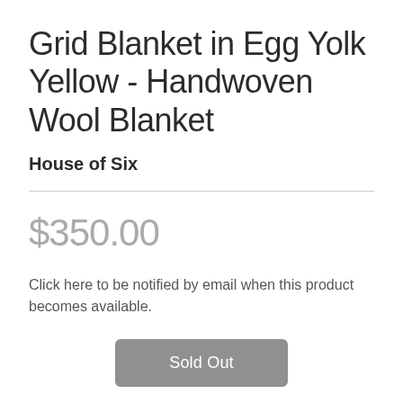Grid Blanket in Egg Yolk Yellow - Handwoven Wool Blanket
House of Six
$350.00
Click here to be notified by email when this product becomes available.
Sold Out